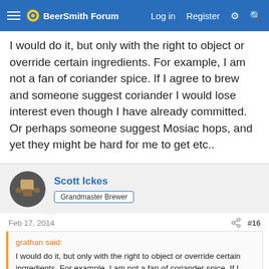BeerSmith Forum | Log in | Register
I would do it, but only with the right to object or override certain ingredients. For example, I am not a fan of coriander spice. If I agree to brew and someone suggest coriander I would lose interest even though I have already committed. Or perhaps someone suggest Mosiac hops, and yet they might be hard for me to get etc..
Scott Ickes
Grandmaster Brewer
Feb 17, 2014  #16
grathan said:
I would do it, but only with the right to object or override certain ingredients. For example, I am not a fan of coriander spice. If I agree to brew and someone suggest coriander I would lose interest even though I have already committed. Or perhaps someone suggest Mosiac hops, and yet they might be hard for me to get etc..